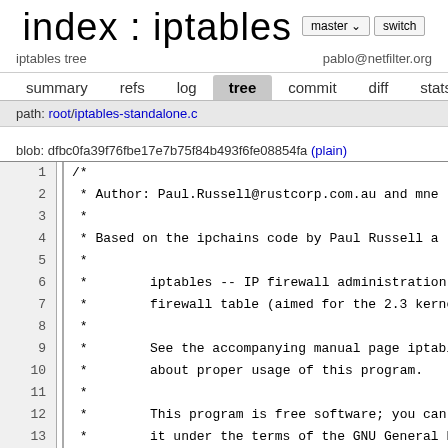index : iptables
iptables tree | pablo@netfilter.org
navigation: summary refs log tree commit diff stats log
path: root/iptables-standalone.c
blob: dfbc0fa39f76fbe17e7b75f84b493f6fe08854fa (plain)
Code lines 1-17 of iptables-standalone.c